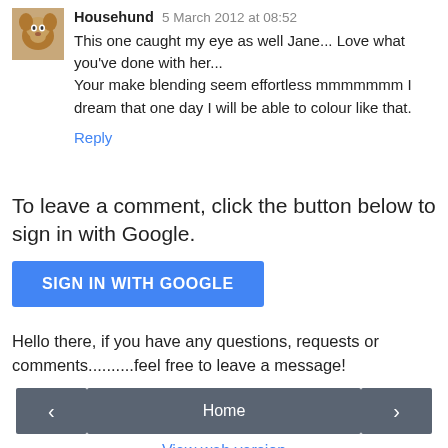Househund 5 March 2012 at 08:52
This one caught my eye as well Jane... Love what you've done with her...
Your make blending seem effortless mmmmmmm I dream that one day I will be able to colour like that.
Reply
To leave a comment, click the button below to sign in with Google.
[Figure (other): SIGN IN WITH GOOGLE button (blue rounded rectangle)]
Hello there, if you have any questions, requests or comments..........feel free to leave a message!
< Home > View web version Powered by Blogger.